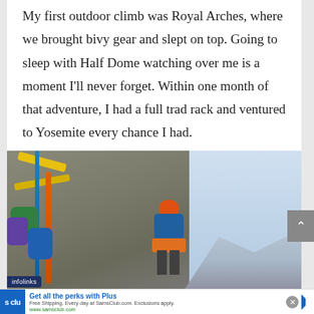My first outdoor climb was Royal Arches, where we brought bivy gear and slept on top. Going to sleep with Half Dome watching over me is a moment I'll never forget. Within one month of that adventure, I had a full trad rack and ventured to Yosemite every chance I had.
[Figure (photo): A rock climber in an orange helmet and blue jacket on a vertical rock face, surrounded by colorful climbing gear including yellow slings, cams, and ropes. Mountains visible in the background.]